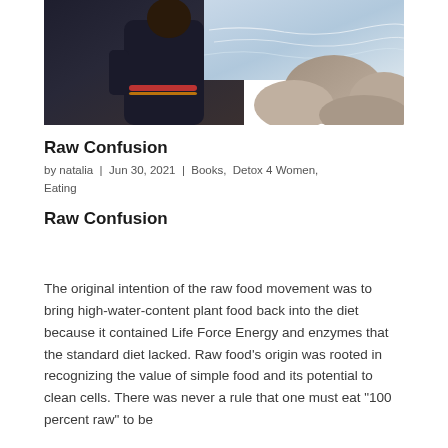[Figure (photo): Person wearing a dark jacket with colorful rainbow stripes on the sleeve, standing outdoors near rocky coastline with ocean waves in the background.]
Raw Confusion
by natalia  |  Jun 30, 2021  |  Books, Detox 4 Women, Eating
Raw Confusion
The original intention of the raw food movement was to bring high-water-content plant food back into the diet because it contained Life Force Energy and enzymes that the standard diet lacked. Raw food’s origin was rooted in recognizing the value of simple food and its potential to clean cells. There was never a rule that one must eat “100 percent raw” to be